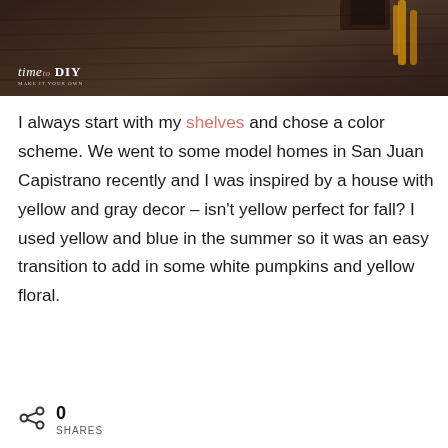[Figure (photo): Dark wood floor photo with a yellow chair leg visible in the top right corner, and a 'time to DIY' logo watermark in the bottom left]
I always start with my shelves and chose a color scheme. We went to some model homes in San Juan Capistrano recently and I was inspired by a house with yellow and gray decor – isn't yellow perfect for fall? I used yellow and blue in the summer so it was an easy transition to add in some white pumpkins and yellow floral.
0 SHARES